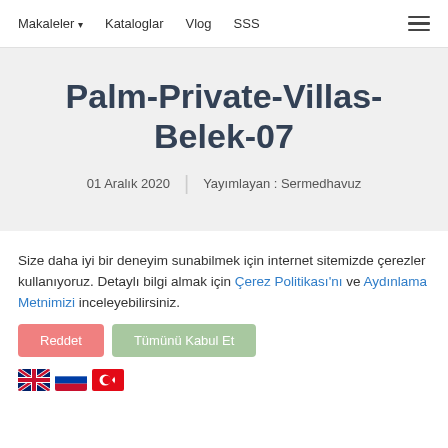Makaleler  Kataloglar  Vlog  SSS
Palm-Private-Villas-Belek-07
01 Aralık 2020  |  Yayımlayan : Sermedhavuz
Size daha iyi bir deneyim sunabilmek için internet sitemizde çerezler kullanıyoruz. Detaylı bilgi almak için Çerez Politikası'nı ve Aydınlama Metnimizi inceleyebilirsiniz.
Reddet  Tümünü Kabul Et